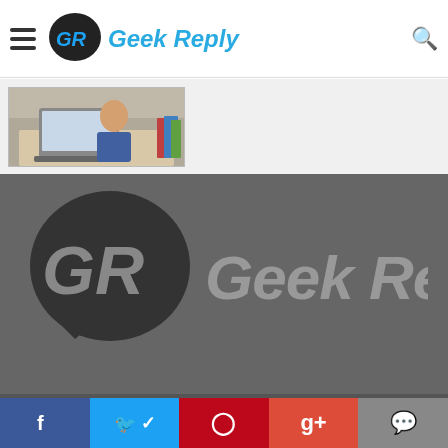Geek Reply
[Figure (photo): Thumbnail image of person at desk with laptop and books]
[Figure (logo): Geek Reply large logo on dark grey background — circular GR speech bubble icon with italic grey text 'Geek Reply']
Greetings techies! We are Geek Reply, a website whose main goal is to bring you all the latest news and updates from within the industry and beyond. What can you expect to find here?
Professional journalism coupled with expository writing for the most part, but we also give our honest opinion or throw in a pinch of humor...